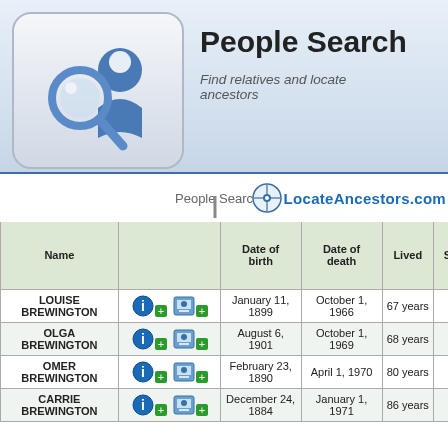[Figure (logo): People Search logo with keyboard key, magnifying glass, and person silhouette icon]
People Search
Find relatives and locate ancestors
People Search | LocateAncestors.com
| Name |  | Date of birth | Date of death | Lived | State | Zip Code (Last Residence) | Zip Co (Lump payme |
| --- | --- | --- | --- | --- | --- | --- | --- |
| LOUISE BREWINGTON |  | January 11, 1899 | October 1, 1966 | 67 years | CA | 95126 (Buena Vista, Sonoma County) |  |
| OLGA BREWINGTON |  | August 6, 1901 | October 1, 1969 | 68 years | CA | 93436 (Lompoc, Santa Barbara County) |  |
| OMER BREWINGTON |  | February 23, 1890 | April 1, 1970 | 80 years | CA | 91103 (Pasadena, Los Angeles County) |  |
| CARRIE BREWINGTON |  | December 24, 1884 | January 1, 1971 | 86 years | CA | 95076 (Watsonville, Santa Cruz County) |  |